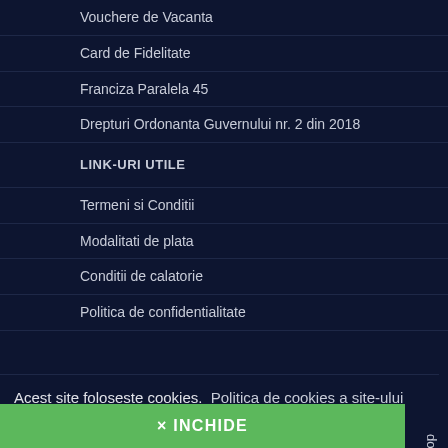Vouchere de Vacanta
Card de Fidelitate
Franciza Paralela 45
Drepturi Ordonanta Guvernului nr. 2 din 2018
LINK-URI UTILE
Termeni si Conditii
Modalitati de plata
Conditii de calatorie
Politica de confidentialitate
Politica de cookies
Panou de control GDPR
Reclamatii si comentarii
Contractul cu Turistul
Alerte Calatorie
Sfaturi auto – ACR
ANPC
Acest site foloseste cookies.  Politica de cookies a site-ului
× INCHIDE